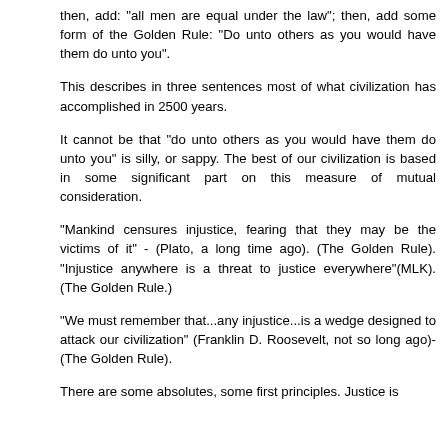then, add: "all men are equal under the law"; then, add some form of the Golden Rule: "Do unto others as you would have them do unto you".
This describes in three sentences most of what civilization has accomplished in 2500 years.
It cannot be that "do unto others as you would have them do unto you" is silly, or sappy. The best of our civilization is based in some significant part on this measure of mutual consideration.
"Mankind censures injustice, fearing that they may be the victims of it" - (Plato, a long time ago). (The Golden Rule). "Injustice anywhere is a threat to justice everywhere"(MLK). (The Golden Rule.)
"We must remember that...any injustice...is a wedge designed to attack our civilization" (Franklin D. Roosevelt, not so long ago)-(The Golden Rule).
There are some absolutes, some first principles. Justice is